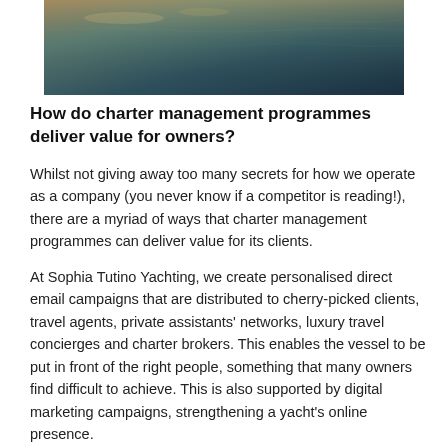[Figure (photo): Aerial or close-up view of dark ocean/sea water surface with light reflections]
How do charter management programmes deliver value for owners?
Whilst not giving away too many secrets for how we operate as a company (you never know if a competitor is reading!), there are a myriad of ways that charter management programmes can deliver value for its clients.
At Sophia Tutino Yachting, we create personalised direct email campaigns that are distributed to cherry-picked clients, travel agents, private assistants' networks, luxury travel concierges and charter brokers. This enables the vessel to be put in front of the right people, something that many owners find difficult to achieve. This is also supported by digital marketing campaigns, strengthening a yacht's online presence.
The network that we have built and continue to build ensures